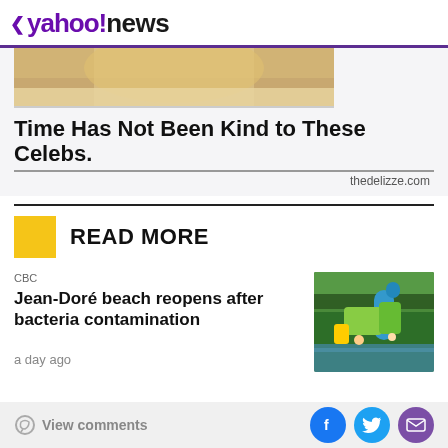< yahoo!news
[Figure (photo): Partial photo of a blonde woman, cropped at top showing hair and partial face]
Time Has Not Been Kind to These Celebs.
thedelizze.com
READ MORE
CBC
Jean-Doré beach reopens after bacteria contamination
a day ago
[Figure (photo): Photo of inflatable water park structures in green and blue on a lake with people playing]
View comments